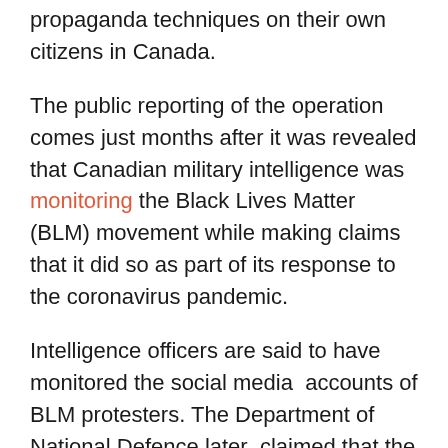propaganda techniques on their own citizens in Canada.
The public reporting of the operation comes just months after it was revealed that Canadian military intelligence was monitoring the Black Lives Matter (BLM) movement while making claims that it did so as part of its response to the coronavirus pandemic.
Intelligence officers are said to have monitored the social media  accounts of BLM protesters. The Department of National Defence later  claimed that the intelligence gathering was related to the deployment of  the military in long term care homes during the pandemic as part of Operation LASER.